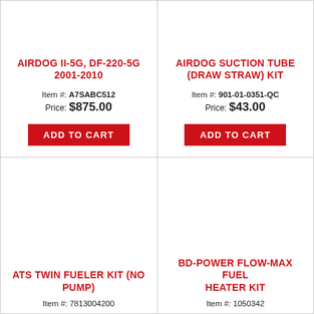AIRDOG II-5G, DF-220-5G 2001-2010
Item #: A7SABC512
Price: $875.00
ADD TO CART
AIRDOG SUCTION TUBE (DRAW STRAW) KIT
Item #: 901-01-0351-QC
Price: $43.00
ADD TO CART
ATS TWIN FUELER KIT (NO PUMP)
Item #: 7813004200
BD-POWER FLOW-MAX FUEL HEATER KIT
Item #: 1050342